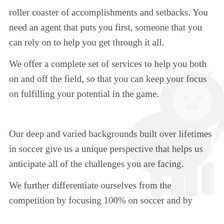roller coaster of accomplishments and setbacks. You need an agent that puts you first, someone that you can rely on to help you get through it all.
We offer a complete set of services to help you both on and off the field, so that you can keep your focus on fulfilling your potential in the game.
Our deep and varied backgrounds built over lifetimes in soccer give us a unique perspective that helps us anticipate all of the challenges you are facing.
We further differentiate ourselves from the competition by focusing 100% on soccer and by